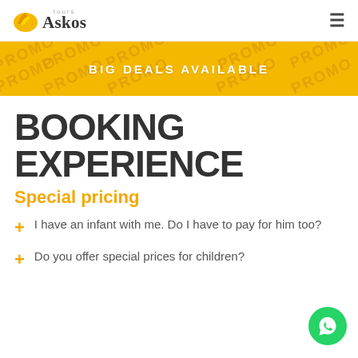Askos tours — navigation header
[Figure (infographic): Gold promotional banner with PROMO watermark text and center text BIG DEALS AVAILABLE]
BOOKING EXPERIENCE
Special pricing
+ I have an infant with me. Do I have to pay for him too?
+ Do you offer special prices for children?